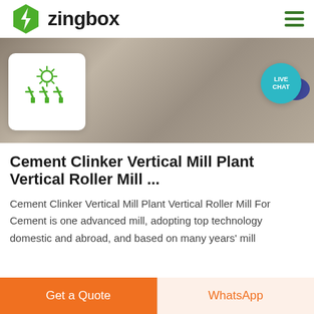[Figure (logo): Zingbox logo with green hexagonal lightning bolt icon and bold text 'zingbox']
[Figure (photo): Background photo of cement/ground surface with a white card showing green sun and antenna/mill icons, and a live chat bubble in teal]
Cement Clinker Vertical Mill Plant Vertical Roller Mill ...
Cement Clinker Vertical Mill Plant Vertical Roller Mill For Cement is one advanced mill, adopting top technology domestic and abroad, and based on many years' mill